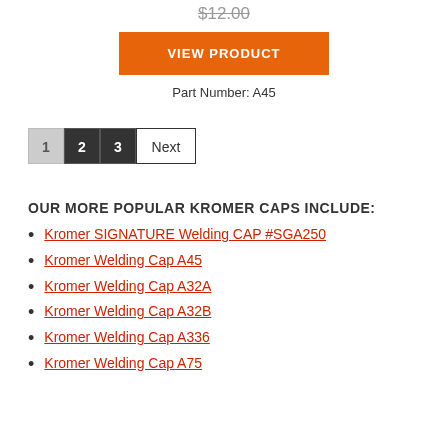$12.00
VIEW PRODUCT
Part Number: A45
1 2 3 Next
OUR MORE POPULAR KROMER CAPS INCLUDE:
Kromer SIGNATURE Welding CAP #SGA250
Kromer Welding Cap A45
Kromer Welding Cap A32A
Kromer Welding Cap A32B
Kromer Welding Cap A336
Kromer Welding Cap A75